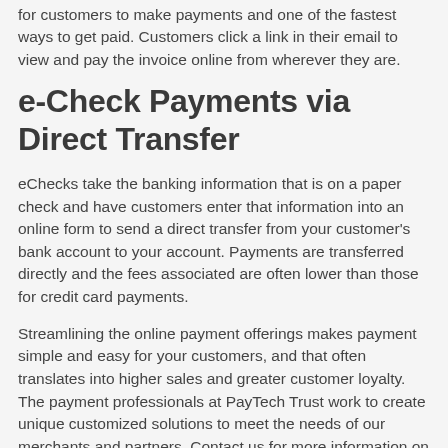for customers to make payments and one of the fastest ways to get paid. Customers click a link in their email to view and pay the invoice online from wherever they are.
e-Check Payments via Direct Transfer
eChecks take the banking information that is on a paper check and have customers enter that information into an online form to send a direct transfer from your customer's bank account to your account. Payments are transferred directly and the fees associated are often lower than those for credit card payments.
Streamlining the online payment offerings makes payment simple and easy for your customers, and that often translates into higher sales and greater customer loyalty. The payment professionals at PayTech Trust work to create unique customized solutions to meet the needs of our merchants and partners. Contact us for more information on how we can help